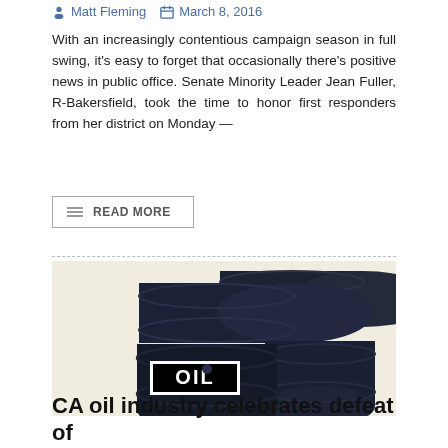Matt Fleming   March 8, 2016
With an increasingly contentious campaign season in full swing, it's easy to forget that occasionally there's positive news in public office. Senate Minority Leader Jean Fuller, R-Bakersfield, took the time to honor first responders from her district on Monday —
READ MORE
[Figure (photo): Stack of black oil barrels/drums with 'OIL' label on the front barrel, arranged in a pile on a light background. A dark navy badge with number '16' appears in the upper right corner.]
CA oil industry celebrates defeat of